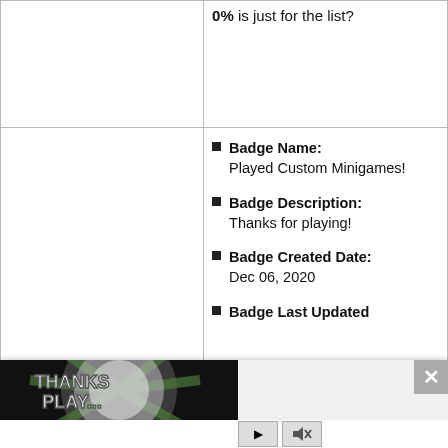0% is just for the list?
Badge Name: Played Custom Minigames!
Badge Description: Thanks for playing!
Badge Created Date: Dec 06, 2020
Badge Last Updated
[Figure (screenshot): Video player overlay showing a Roblox game thumbnail with text 'THANKS FOR PLAYING!' and media controls (play button, mute button), with a grey close button (X) in top right corner.]
Rarity: